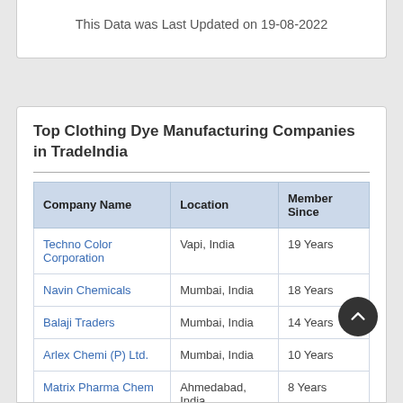This Data was Last Updated on 19-08-2022
Top Clothing Dye Manufacturing Companies in TradeIndia
| Company Name | Location | Member Since |
| --- | --- | --- |
| Techno Color Corporation | Vapi, India | 19 Years |
| Navin Chemicals | Mumbai, India | 18 Years |
| Balaji Traders | Mumbai, India | 14 Years |
| Arlex Chemi (P) Ltd. | Mumbai, India | 10 Years |
| Matrix Pharma Chem | Ahmedabad, India | 8 Years |
| Dezhou Taining |  |  |